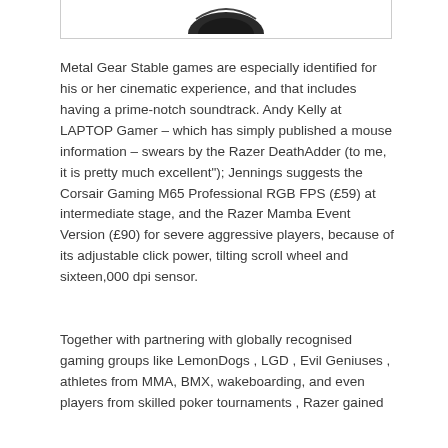[Figure (photo): Partial view of a dark-colored gaming mouse at the top of the page, cropped at the bottom of an image box with a border.]
Metal Gear Stable games are especially identified for his or her cinematic experience, and that includes having a prime-notch soundtrack. Andy Kelly at LAPTOP Gamer – which has simply published a mouse information – swears by the Razer DeathAdder (to me, it is pretty much excellent"); Jennings suggests the Corsair Gaming M65 Professional RGB FPS (£59) at intermediate stage, and the Razer Mamba Event Version (£90) for severe aggressive players, because of its adjustable click power, tilting scroll wheel and sixteen,000 dpi sensor.
Together with partnering with globally recognised gaming groups like LemonDogs , LGD , Evil Geniuses , athletes from MMA, BMX, wakeboarding, and even players from skilled poker tournaments , Razer gained